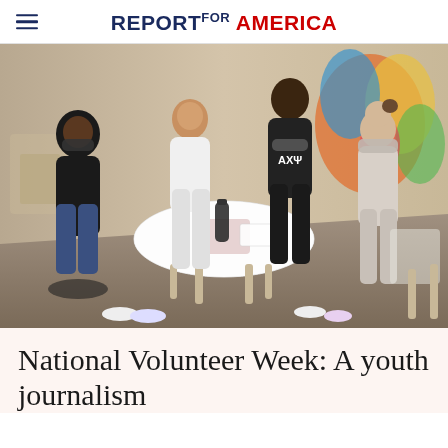REPORT FOR AMERICA
[Figure (photo): Four young people wearing masks sitting around a white table in a colorful room, appearing to have a discussion or meeting. One person on the left wears a black puffer jacket, another in the center-left wears a white hoodie and smiles, one in the center-right wears a black AXP hoodie, and one on the right wears a gray hoodie. Art and colorful murals are visible in the background.]
National Volunteer Week: A youth journalism